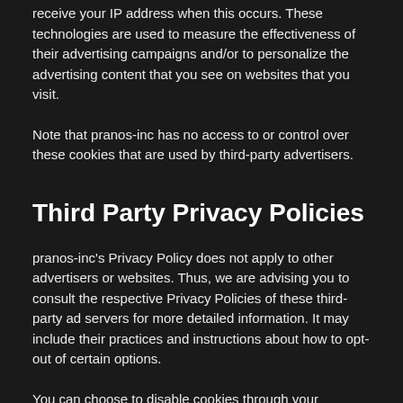receive your IP address when this occurs. These technologies are used to measure the effectiveness of their advertising campaigns and/or to personalize the advertising content that you see on websites that you visit.
Note that pranos-inc has no access to or control over these cookies that are used by third-party advertisers.
Third Party Privacy Policies
pranos-inc's Privacy Policy does not apply to other advertisers or websites. Thus, we are advising you to consult the respective Privacy Policies of these third-party ad servers for more detailed information. It may include their practices and instructions about how to opt-out of certain options.
You can choose to disable cookies through your individual browser options. To know more detailed information about cookie management with specific web browsers, it can be found at the browsers' respective websites.